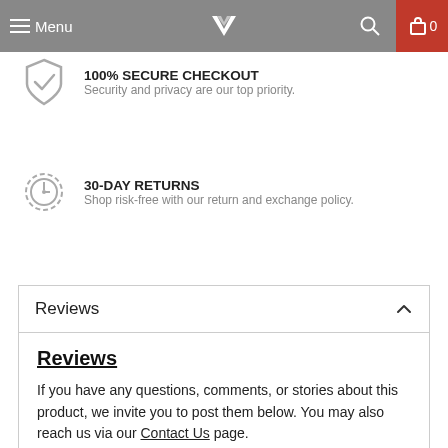Menu | [logo] | [search] | 0
100% SECURE CHECKOUT
Security and privacy are our top priority.
30-DAY RETURNS
Shop risk-free with our return and exchange policy.
Reviews
Reviews
If you have any questions, comments, or stories about this product, we invite you to post them below. You may also reach us via our Contact Us page.
5.0 ★★★★★ Based on 20 Reviews